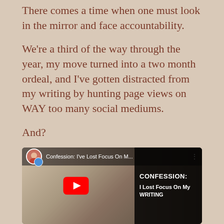There comes a time when one must look in the mirror and face accountability.
We're a third of the way through the year, my move turned into a two month ordeal, and I've gotten distracted from my writing by hunting page views on WAY too many social mediums.
And?
To be honest? I'm starting to lose faith that I'll find my agent with this story.
[Figure (screenshot): YouTube video thumbnail/player showing a woman in a room with bookshelves. Title overlay reads 'CONFESSION: I Lost Focus On My WRITING'. Top bar shows 'Confession: I've Lost Focus On M...' with a circular avatar of a woman holding a mug.]